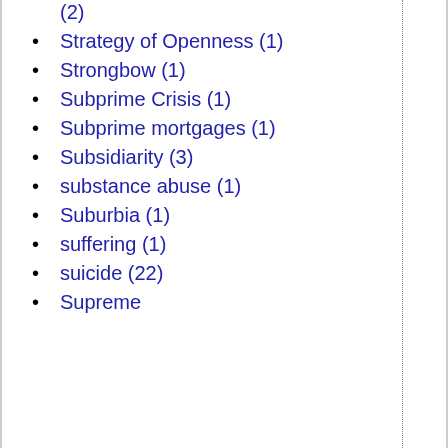(2)
Strategy of Openness (1)
Strongbow (1)
Subprime Crisis (1)
Subprime mortgages (1)
Subsidiarity (3)
substance abuse (1)
Suburbia (1)
suffering (1)
suicide (22)
Supreme